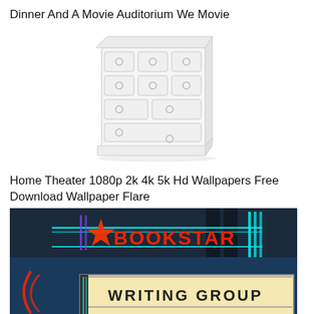Dinner And A Movie Auditorium We Movie
[Figure (illustration): White dresser/chest of drawers furniture illustration on white background]
Home Theater 1080p 2k 4k 5k Hd Wallpapers Free Download Wallpaper Flare
[Figure (photo): Neon-lit Bookstar theater marquee at night showing BOOKSTAR sign with star logo and WRITING GROUP text on the marquee, lit in red and teal neon against dark blue sky]